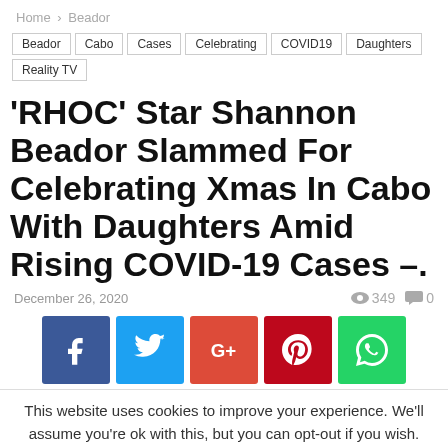Home > Beador
Beador | Cabo | Cases | Celebrating | COVID19 | Daughters | Reality TV
'RHOC' Star Shannon Beador Slammed For Celebrating Xmas In Cabo With Daughters Amid Rising COVID-19 Cases –.
December 26, 2020   349  0
[Figure (infographic): Social sharing buttons: Facebook (blue), Twitter (light blue), Google+ (orange-red), Pinterest (red), WhatsApp (green)]
This website uses cookies to improve your experience. We'll assume you're ok with this, but you can opt-out if you wish.
Accept   Read More